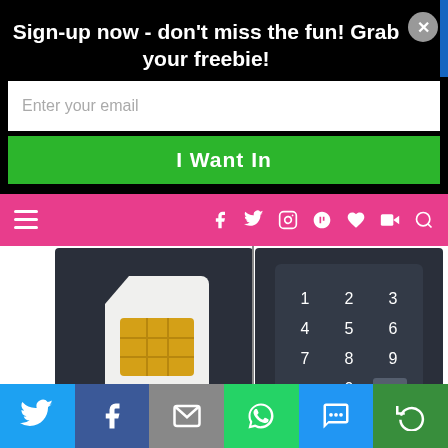Sign-up now - don't miss the fun! Grab your freebie!
Enter your email
I Want In
[Figure (screenshot): Website navigation bar with pink background, hamburger menu, social media icons (Facebook, Twitter, Instagram, Pinterest, heart, YouTube), and search icon]
[Figure (screenshot): Two mobile phone screens showing a SIM card on the left screen and a PIN entry keypad (1-9, 0, backspace) on the right screen with 'I've forgotten my PIN' text at bottom]
Once installed, it runs silently to protect you from the latest viruses, malware, spyware,
[Figure (screenshot): Social sharing bar with Twitter, Facebook, Email, WhatsApp, SMS, and Share buttons]